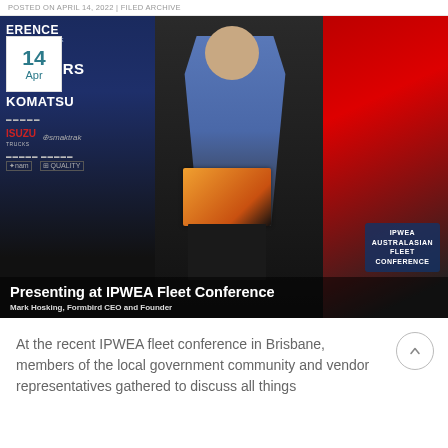POSTED ON APRIL 14, 2022 | FILED ARCHIVE
[Figure (photo): A man in a blue checked shirt standing at a podium presenting at the IPWEA Australasian Fleet Conference. The backdrop shows sponsor logos including Komatsu and Isuzu Trucks. A date badge reads '14 Apr'. Text overlay reads 'Presenting at IPWEA Fleet Conference' and 'Mark Hosking, Formbird CEO and Founder'.]
Presenting at IPWEA Fleet Conference
Mark Hosking, Formbird CEO and Founder
At the recent IPWEA fleet conference in Brisbane, members of the local government community and vendor representatives gathered to discuss all things